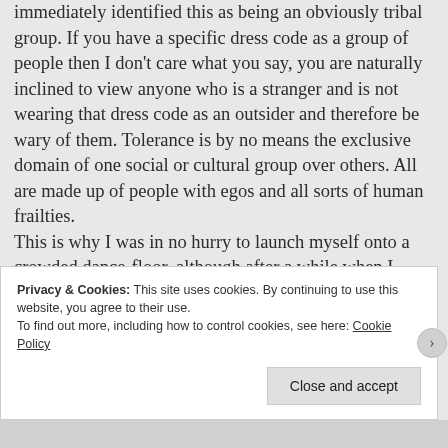immediately identified this as being an obviously tribal group. If you have a specific dress code as a group of people then I don't care what you say, you are naturally inclined to view anyone who is a stranger and is not wearing that dress code as an outsider and therefore be wary of them. Tolerance is by no means the exclusive domain of one social or cultural group over others. All are made up of people with egos and all sorts of human frailties.
This is why I was in no hurry to launch myself onto a crowded dance-floor, although after a while when I perceived that those around me
Privacy & Cookies: This site uses cookies. By continuing to use this website, you agree to their use.
To find out more, including how to control cookies, see here: Cookie Policy
Close and accept